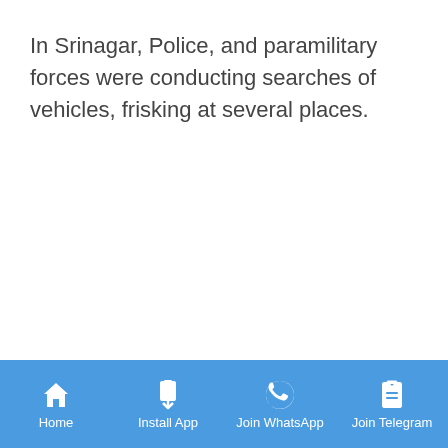In Srinagar, Police, and paramilitary forces were conducting searches of vehicles, frisking at several places.
Home | Install App | Join WhatsApp | Join Telegram